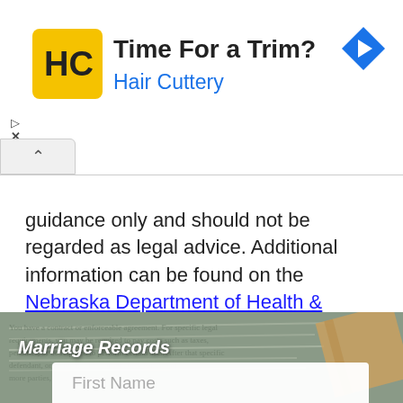[Figure (advertisement): Hair Cuttery advertisement banner with yellow logo, 'Time For a Trim?' headline, 'Hair Cuttery' subtitle in blue, and a blue navigation arrow icon on the right.]
guidance only and should not be regarded as legal advice. Additional information can be found on the Nebraska Department of Health & Human Services website.
[Figure (photo): A blurred photo of a legal document with handwritten text and a pencil, overlaid with 'Marriage Records' text in white italic, and a First Name input field at the bottom.]